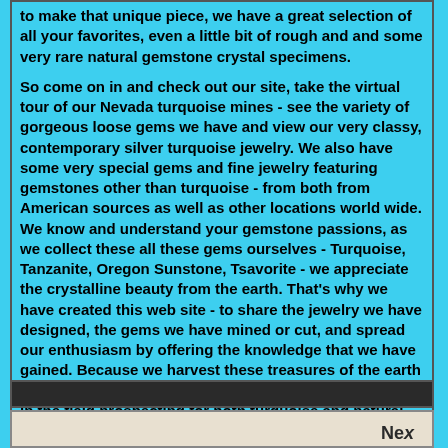to make that unique piece, we have a great selection of all your favorites, even a little bit of rough and and some very rare natural gemstone crystal specimens.

So come on in and check out our site, take the virtual tour of our Nevada turquoise mines - see the variety of gorgeous loose gems we have and view our very classy, contemporary silver turquoise jewelry. We also have some very special gems and fine jewelry featuring gemstones other than turquoise - from both from American sources as well as other locations world wide. We know and understand your gemstone passions, as we collect these all these gems ourselves - Turquoise, Tanzanite, Oregon Sunstone, Tsavorite - we appreciate the crystalline beauty from the earth. That's why we have created this web site - to share the jewelry we have designed, the gems we have mined or cut, and spread our enthusiasm by offering the knowledge that we have gained. Because we harvest these treasures of the earth ourselves, we also are sharing some of our adventures in the field prospecting for both turquoise and natural gold nuggets. We welcome your purchases, and will do our very best to make your transactions smooth, safe and easy.